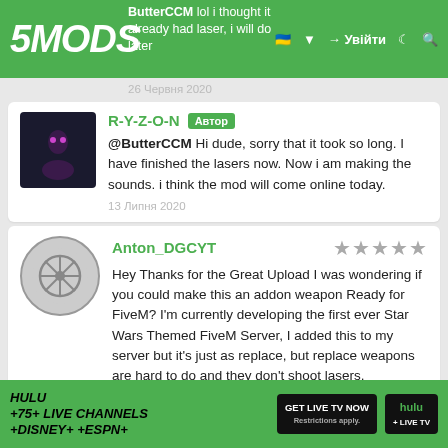5MODS | ButterCCM lol i thought it already had laser, i will do later | Увійти
26 Червня 2020
R-Y-Z-O-N [Автор] @ButterCCM Hi dude, sorry that it took so long. I have finished the lasers now. Now i am making the sounds. i think the mod will come online today. 13 Липня 2020
Anton_DGCYT ★★★★★ Hey Thanks for the Great Upload I was wondering if you could make this an addon weapon Ready for FiveM? I'm currently developing the first ever Star Wars Themed FiveM Server, I added this to my server but it's just as replace, but replace weapons are hard to do and they don't shoot lasers. 05 Серпня 2020
[Figure (infographic): Hulu advertisement banner: HULU +75+ LIVE CHANNELS +DISNEY+ +ESPN+ GET LIVE TV NOW button and Hulu + Live TV logo]